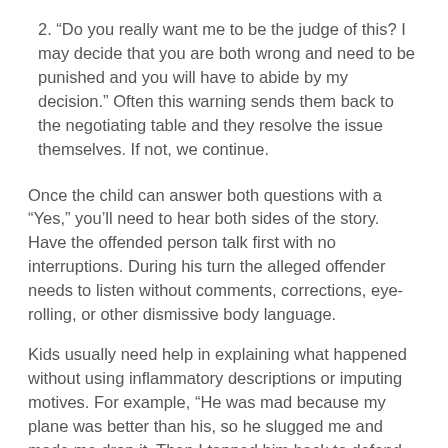2. “Do you really want me to be the judge of this? I may decide that you are both wrong and need to be punished and you will have to abide by my decision.” Often this warning sends them back to the negotiating table and they resolve the issue themselves. If not, we continue.
Once the child can answer both questions with a “Yes,” you’ll need to hear both sides of the story. Have the offended person talk first with no interruptions. During his turn the alleged offender needs to listen without comments, corrections, eye-rolling, or other dismissive body language.
Kids usually need help in explaining what happened without using inflammatory descriptions or imputing motives. For example, “He was mad because my plane was better than his, so he slugged me and made me drop it. Then I tapped him back to defend my plane,” should become, “After my plane won the race, he punched me and then I hit him back.” I often ask a lot questions to clarify what happened and to make sure things are not left out. At the end of his turn, I